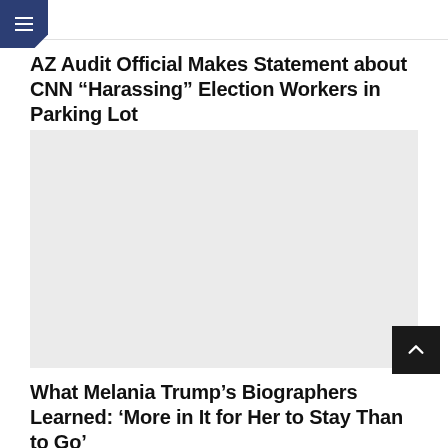AZ Audit Official Makes Statement about CNN “Harassing” Election Workers in Parking Lot
[Figure (photo): Large image placeholder (light gray rectangle), associated with the AZ Audit CNN article]
What Melania Trump’s Biographers Learned: ‘More in It for Her to Stay Than to Go’